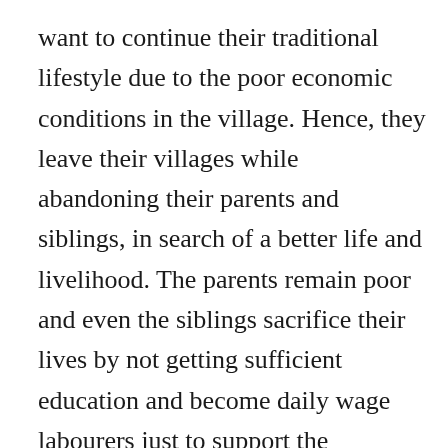want to continue their traditional lifestyle due to the poor economic conditions in the village. Hence, they leave their villages while abandoning their parents and siblings, in search of a better life and livelihood. The parents remain poor and even the siblings sacrifice their lives by not getting sufficient education and become daily wage labourers just to support the education of the better one in the family. Ko:Yad also tells the story of the universal truth that nothing is permanent in your life. Your family, your children, even the possessions that you think will always remain with you, will abandon you